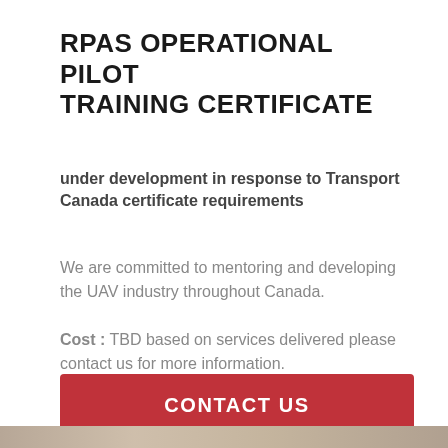RPAS OPERATIONAL PILOT TRAINING CERTIFICATE
under development in response to Transport Canada certificate requirements
We are committed to mentoring and developing the UAV industry throughout Canada.
Cost : TBD based on services delivered please contact us for more information.
CONTACT US